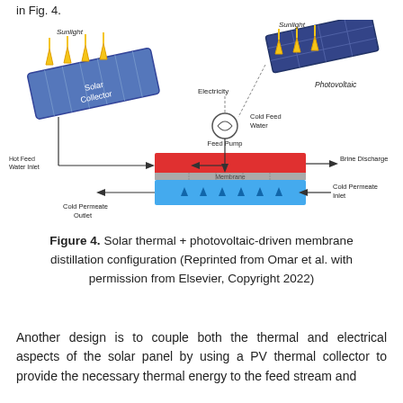in Fig. 4.
[Figure (schematic): Solar thermal + photovoltaic-driven membrane distillation system diagram showing a solar collector receiving sunlight connected via Feed Pump (powered by Photovoltaic panel) to a membrane distillation module. Arrows indicate Hot Feed Water Inlet, Cold Permeate Outlet, Brine Discharge, Cold Permeate Inlet, Cold Feed Water, and Electricity flows. The membrane module shows red (hot) and blue (cold) layers separated by a membrane.]
Figure 4. Solar thermal + photovoltaic-driven membrane distillation configuration (Reprinted from Omar et al. with permission from Elsevier, Copyright 2022)
Another design is to couple both the thermal and electrical aspects of the solar panel by using a PV thermal collector to provide the necessary thermal energy to the feed stream and